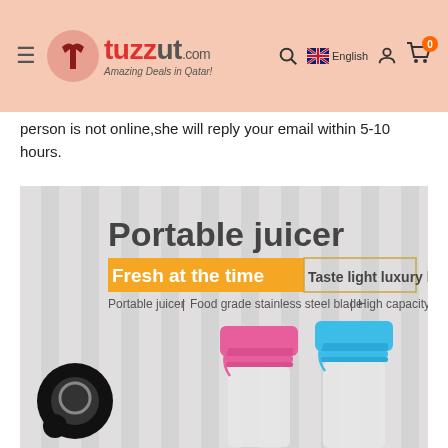tuzzut.com - Amazing Deals in Qatar! [navigation header with search, language, account, cart icons]
person is not online,she will reply your email within 5-10 hours.
[Figure (photo): Product advertisement image for a portable juicer. Text reads: 'Portable juicer' in large dark letters. 'Fresh at the time' on an orange background and 'Taste light luxury life' in an outlined box. Below: 'Portable juicer | Food grade stainless steel blade | High capacity'. Shows pink and blue portable juicer bottles with straps on a light curtain background. A speech bubble/chat icon is visible at the lower left.]